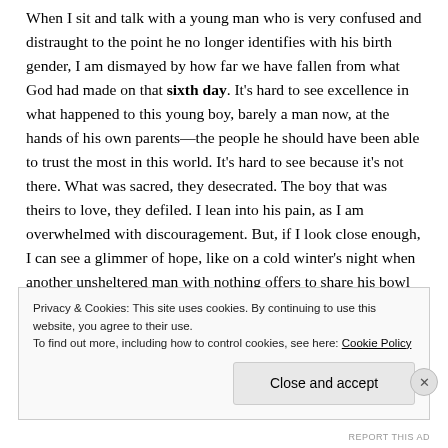When I sit and talk with a young man who is very confused and distraught to the point he no longer identifies with his birth gender, I am dismayed by how far we have fallen from what God had made on that sixth day. It's hard to see excellence in what happened to this young boy, barely a man now, at the hands of his own parents—the people he should have been able to trust the most in this world. It's hard to see because it's not there. What was sacred, they desecrated. The boy that was theirs to love, they defiled. I lean into his pain, as I am overwhelmed with discouragement. But, if I look close enough, I can see a glimmer of hope, like on a cold winter's night when another unsheltered man with nothing offers to share his bowl of
Privacy & Cookies: This site uses cookies. By continuing to use this website, you agree to their use. To find out more, including how to control cookies, see here: Cookie Policy
Close and accept